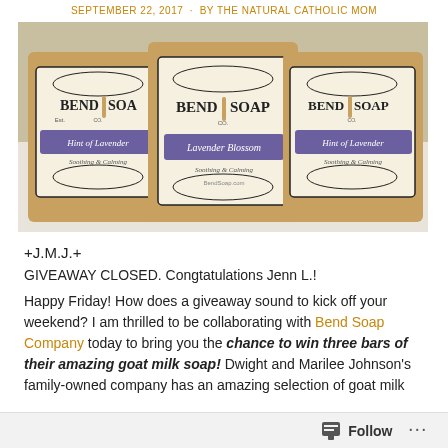SEPTEMBER 22, 2017 · BY THE NATURAL CATHOLIC MOM
[Figure (photo): Three bars of Bend Soap Company handcrafted goat milk soap displayed side by side. Labels read 'Bend Soap Co.' with varieties including 'Hint of Lavender' and 'Lavender Blossom'.]
+J.M.J.+
GIVEAWAY CLOSED. Congtatulations Jenn L.!
Happy Friday! How does a giveaway sound to kick off your weekend? I am thrilled to be collaborating with Bend Soap Company today to bring you the chance to win three bars of their amazing goat milk soap! Dwight and Marilee Johnson's family-owned company has an amazing selection of goat milk
Follow